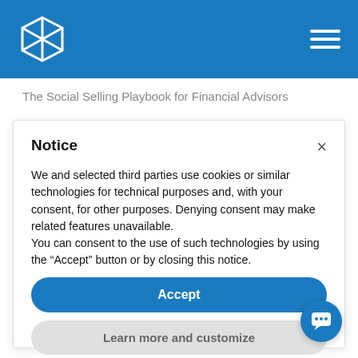[Figure (logo): Blue header bar with a geometric diamond/octahedron logo on the left and a hamburger menu icon on the right]
The Social Selling Playbook for Financial Advisors
Notice
We and selected third parties use cookies or similar technologies for technical purposes and, with your consent, for other purposes. Denying consent may make related features unavailable.
You can consent to the use of such technologies by using the “Accept” button or by closing this notice.
Accept
Learn more and customize